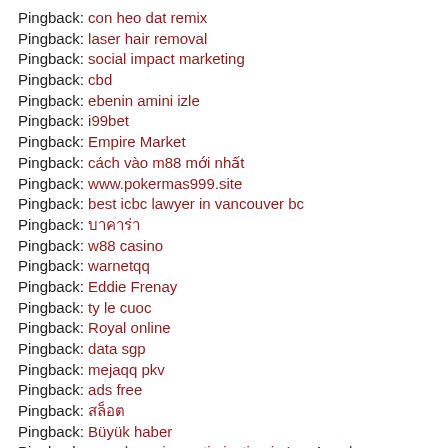Pingback: con heo dat remix
Pingback: laser hair removal
Pingback: social impact marketing
Pingback: cbd
Pingback: ebenin amini izle
Pingback: i99bet
Pingback: Empire Market
Pingback: cách vào m88 mới nhất
Pingback: www.pokermas999.site
Pingback: best icbc lawyer in vancouver bc
Pingback: บาคาร่า
Pingback: w88 casino
Pingback: warnetqq
Pingback: Eddie Frenay
Pingback: ty le cuoc
Pingback: Royal online
Pingback: data sgp
Pingback: mejaqq pkv
Pingback: ads free
Pingback: สล็อต
Pingback: Büyük haber
Pingback: search engine optimization in Los Angeles
Pingback: 1xbet